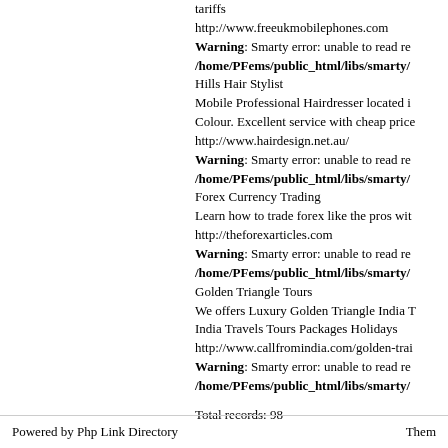tariffs
http://www.freeukmobilephones.com
Warning: Smarty error: unable to read re
/home/PFems/public_html/libs/smarty/
Hills Hair Stylist
Mobile Professional Hairdresser located i
Colour. Excellent service with cheap price
http://www.hairdesign.net.au/
Warning: Smarty error: unable to read re
/home/PFems/public_html/libs/smarty/
Forex Currency Trading
Learn how to trade forex like the pros wit
http://theforexarticles.com
Warning: Smarty error: unable to read re
/home/PFems/public_html/libs/smarty/
Golden Triangle Tours
We offers Luxury Golden Triangle India T
India Travels Tours Packages Holidays
http://www.callfromindia.com/golden-trai
Warning: Smarty error: unable to read re
/home/PFems/public_html/libs/smarty/
Total records: 98
Powered by Php Link Directory    Them